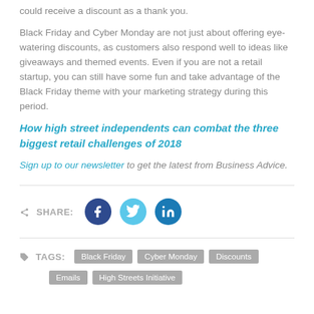could receive a discount as a thank you.
Black Friday and Cyber Monday are not just about offering eye-watering discounts, as customers also respond well to ideas like giveaways and themed events. Even if you are not a retail startup, you can still have some fun and take advantage of the Black Friday theme with your marketing strategy during this period.
How high street independents can combat the three biggest retail challenges of 2018
Sign up to our newsletter to get the latest from Business Advice.
[Figure (infographic): Share icons row: Facebook (dark blue circle), Twitter (light blue circle), LinkedIn (dark teal circle) with SHARE: label]
TAGS: Black Friday  Cyber Monday  Discounts  Emails  High Streets Initiative